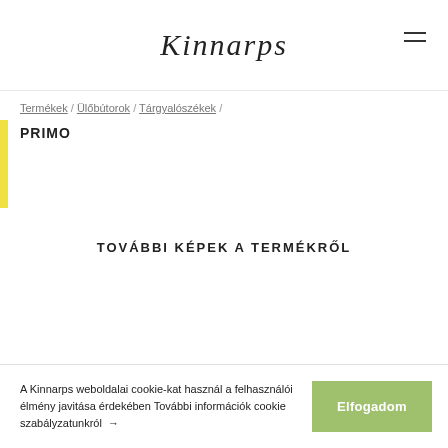Kinnarps
Termékek / Ülőbútorok / Tárgyalószékek /
PRIMO
TOVÁBBI KÉPEK A TERMÉKRŐL
A Kinnarps weboldalai cookie-kat használ a felhasználói élmény javitása érdekében További információk cookie szabályzatunkról → Elfogadom